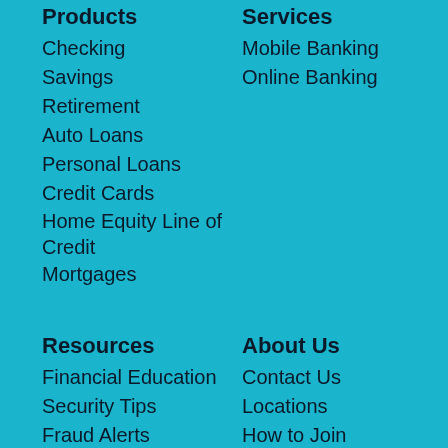Products
Checking
Savings
Retirement
Auto Loans
Personal Loans
Credit Cards
Home Equity Line of Credit
Mortgages
Services
Mobile Banking
Online Banking
Resources
Financial Education
Security Tips
Fraud Alerts
Calculators
About Us
Contact Us
Locations
How to Join
Careers